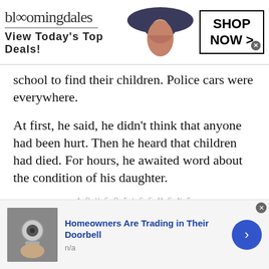[Figure (screenshot): Bloomingdale's advertisement banner with logo, 'View Today's Top Deals!' text, woman in hat image, and 'SHOP NOW >' button]
school to find their children. Police cars were everywhere.
At first, he said, he didn't think that anyone had been hurt. Then he heard that children had died. For hours, he awaited word about the condition of his daughter.
ADVERTISEMENT
“I was in kind of in shock,” he said, after hearing word from the Texas Rangers. When he got home, he started to go through her pictures. “That’s whe
[Figure (screenshot): Bottom advertisement: 'Homeowners Are Trading in Their Doorbell' with thumbnail image of a doorbell, 'n/a' text, and a blue arrow button]